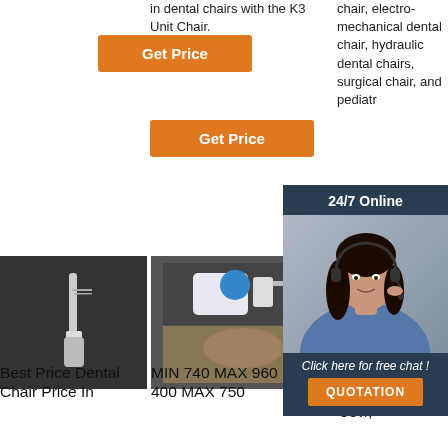[Figure (screenshot): Orange Get Price button in column 1]
in dental chairs with the K3 Unit Chair.
chair, electro-mechanical dental chair, hydraulic dental chairs, surgical chair, and pediatr...
[Figure (screenshot): Orange Get Price button in column 2]
[Figure (screenshot): Orange Get Price (partial) button in column 3]
[Figure (photo): Dental tool / endo instrument on dark background]
[Figure (photo): Dental micromotor equipment collage]
[Figure (photo): Third product image (partial)]
[Figure (infographic): 24/7 Online chat overlay with customer service representative photo, Click here for free chat, QUOTATION button]
Best Price Dental Chair Price In Bangalore...
MIN 740 MAX 960 MIN 400 MAX 750
Dental Chairs In Delhi, दिल्ली डेंटल, दिल्ली Delh...